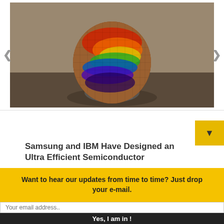[Figure (photo): A circular silicon chip wafer with rainbow iridescent colors balanced upright on a dark rocky surface against a brownish-gray background]
Samsung and IBM Have Designed an Ultra Efficient Semiconductor
Want to hear our updates from time to time? Just drop your e-mail.
Your email address..
Yes, I am in !